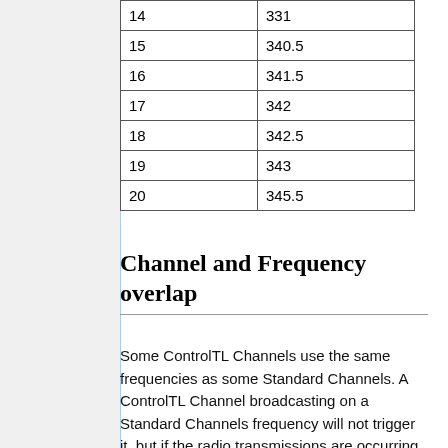| Channel | Frequency (MHz) |
| --- | --- |
| 14 | 331 |
| 15 | 340.5 |
| 16 | 341.5 |
| 17 | 342 |
| 18 | 342.5 |
| 19 | 343 |
| 20 | 345.5 |
Channel and Frequency overlap
Some ControlTL Channels use the same frequencies as some Standard Channels. A ControlTL Channel broadcasting on a Standard Channels frequency will not trigger it, but if the radio transmissions are occurring at the same time, then one or both may not